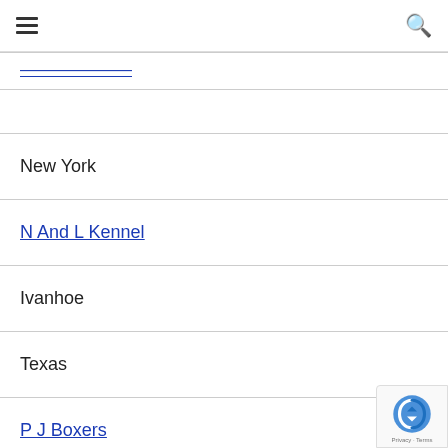Navigation bar with hamburger menu and search icon
[link - partially visible, underlined blue text]
New York
N And L Kennel
Ivanhoe
Texas
P J Boxers